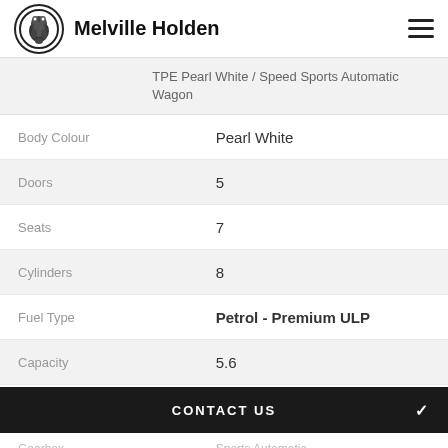Melville Holden
TPE Pearl White / Speed Sports Automatic Wagon
|  |  |
| --- | --- |
| Body Colour | Pearl White |
| Doors | 5 |
| Seats | 7 |
| Cylinders | 8 |
| Fuel Type | Petrol - Premium ULP |
| Capacity | 5.6 |
CONTACT US
Gearbox   Sports Automatic
FINANCE THIS VEHICLE